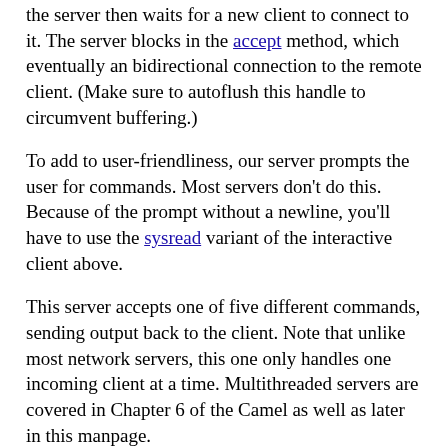the server then waits for a new client to connect to it. The server blocks in the accept method, which eventually an bidirectional connection to the remote client. (Make sure to autoflush this handle to circumvent buffering.)
To add to user-friendliness, our server prompts the user for commands. Most servers don't do this. Because of the prompt without a newline, you'll have to use the sysread variant of the interactive client above.
This server accepts one of five different commands, sending output back to the client. Note that unlike most network servers, this one only handles one incoming client at a time. Multithreaded servers are covered in Chapter 6 of the Camel as well as later in this manpage.
Here's the code. We'll
#!/usr/bin/perl -w
use IO::Socket;